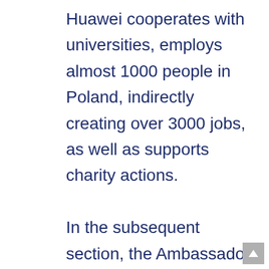Huawei cooperates with universities, employs almost 1000 people in Poland, indirectly creating over 3000 jobs, as well as supports charity actions.

In the subsequent section, the Ambassador assures that Huawei's products, allowing to implement the 5G network in Poland, can significantly reduce the costs of its construction. As he says: “According